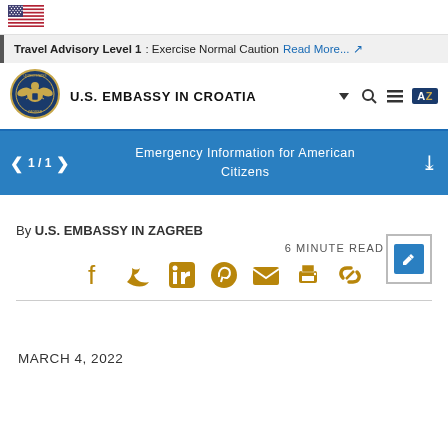[Figure (logo): US flag icon in top left corner]
Travel Advisory Level 1: Exercise Normal Caution Read More...
U.S. EMBASSY IN CROATIA
[Figure (logo): U.S. Embassy seal/logo circular emblem]
Emergency Information for American Citizens
By U.S. EMBASSY IN ZAGREB
6 MINUTE READ
[Figure (infographic): Social media sharing icons: Facebook, Twitter, LinkedIn, Pinterest, Email, Print, Link - all in gold/amber color]
MARCH 4, 2022